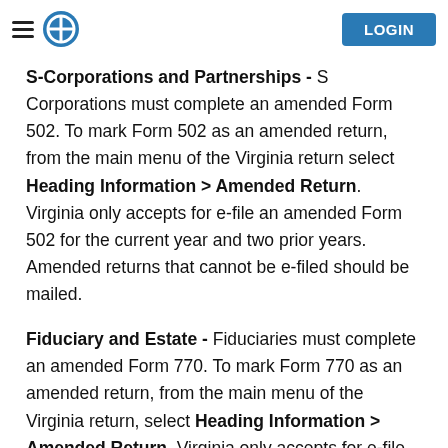[hamburger menu] [logo] LOGIN
S-Corporations and Partnerships - S Corporations must complete an amended Form 502. To mark Form 502 as an amended return, from the main menu of the Virginia return select Heading Information > Amended Return. Virginia only accepts for e-file an amended Form 502 for the current year and two prior years. Amended returns that cannot be e-filed should be mailed.
Fiduciary and Estate - Fiduciaries must complete an amended Form 770. To mark Form 770 as an amended return, from the main menu of the Virginia return, select Heading Information > Amended Return. Virginia only accepts for e-file an amended Form 770 for the current year. Amended returns